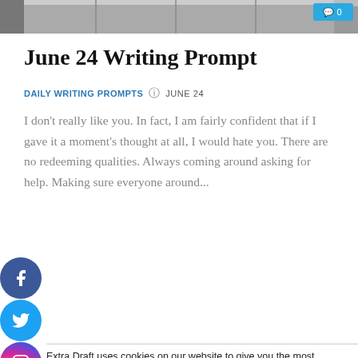[Figure (photo): Top portion of a webpage with a dark/grey door or wall image, partially cropped. A teal comment badge showing '0' is visible in the top right corner.]
June 24 Writing Prompt
DAILY WRITING PROMPTS   ⊙  JUNE 24
I don't really like you. In fact, I am fairly confident that if I gave it a moment's thought at all, I would hate you. There are no redeeming qualities. Always coming around asking for help. Making sure everyone around...
[Figure (illustration): Vertical social media sharing bar with four circular icons: Facebook (blue), Twitter (light blue), Instagram (gradient), Pinterest (red)]
Extra Draft uses cookies on our website to give you the most relevant experience by remembering your preferences and repeat visits. By clicking "Accept", you consent to the use of all cookies.
Cookie settings   ACCEPT